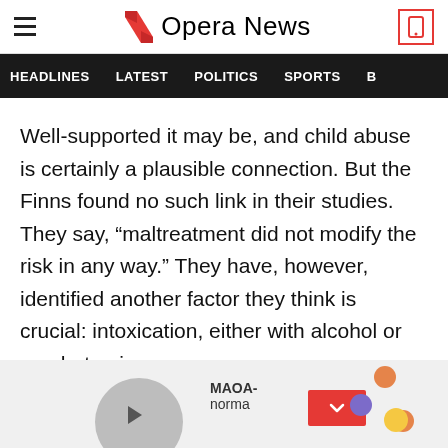Opera News
HEADLINES   LATEST   POLITICS   SPORTS
Well-supported it may be, and child abuse is certainly a plausible connection. But the Finns found no such link in their studies. They say, “maltreatment did not modify the risk in any way.” They have, however, identified another factor they think is crucial: intoxication, either with alcohol or amphetamines.
[Figure (screenshot): Bottom advertisement/content strip with grey circle, MAOA text, red chevron button, and colored dots]